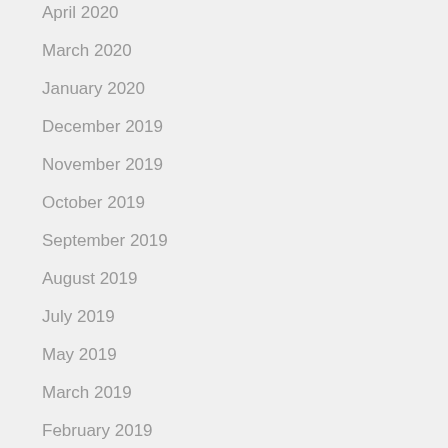May 2020
April 2020
March 2020
January 2020
December 2019
November 2019
October 2019
September 2019
August 2019
July 2019
May 2019
March 2019
February 2019